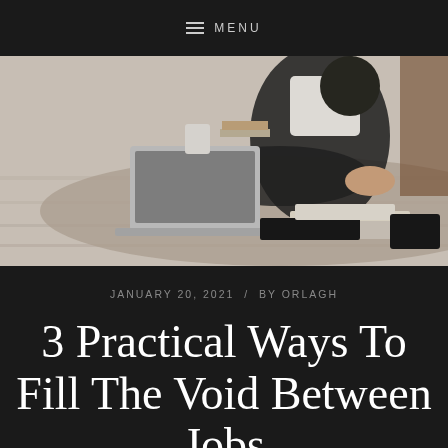MENU
[Figure (photo): Person sitting cross-legged on a woven rug on a hardwood floor, working on a laptop, with magazines and books scattered around them and a wooden side table visible in the background]
JANUARY 20, 2021 / BY ORLAGH
3 Practical Ways To Fill The Void Between Jobs